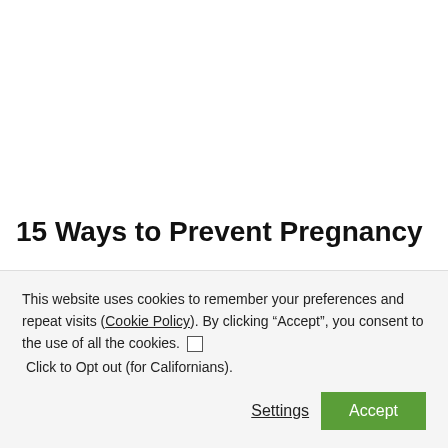15 Ways to Prevent Pregnancy
Statistics show that women who do not take any cautions
This website uses cookies to remember your preferences and repeat visits (Cookie Policy). By clicking “Accept”, you consent to the use of all the cookies. ☐
 Click to Opt out (for Californians).